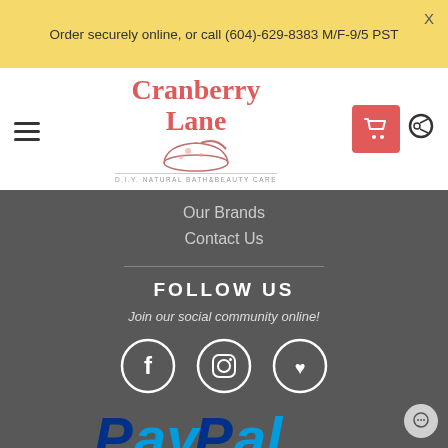Order securely online, or call (604)-629-8383 M/F-9/5 PST
[Figure (logo): Cranberry Lane D.I.Y. Natural Bath & Beauty Care logo with mortar and pestle illustration]
Our Brands
Contact Us
FOLLOW US
Join our social community online!
[Figure (illustration): Social media icons: Facebook, Instagram, Yelp circles in white outline]
[Figure (logo): PayPal logo partially visible at bottom]